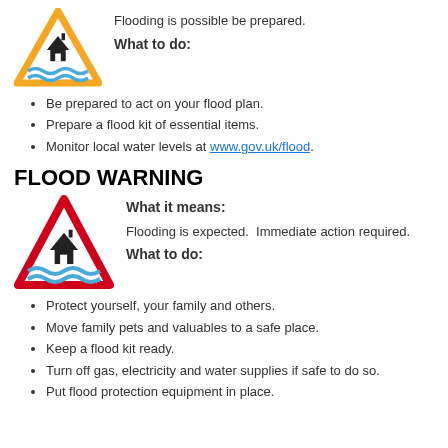Flooding is possible be prepared.
What to do:
Be prepared to act on your flood plan.
Prepare a flood kit of essential items.
Monitor local water levels at www.gov.uk/flood.
FLOOD WARNING
What it means:
Flooding is expected.  Immediate action required.
What to do:
Protect yourself, your family and others.
Move family pets and valuables to a safe place.
Keep a flood kit ready.
Turn off gas, electricity and water supplies if safe to do so.
Put flood protection equipment in place.